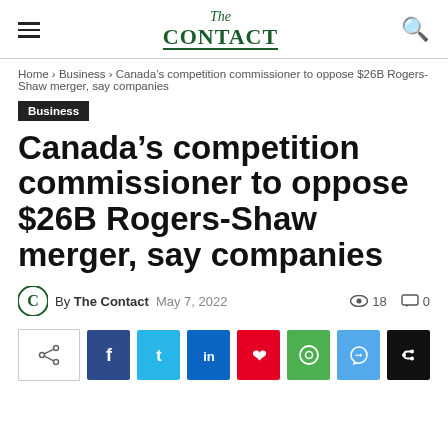The CONTACT
Home › Business › Canada's competition commissioner to oppose $26B Rogers-Shaw merger, say companies
Business
Canada's competition commissioner to oppose $26B Rogers-Shaw merger, say companies
By The Contact   May 7, 2022   18   0